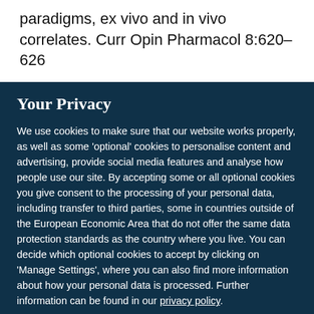paradigms, ex vivo and in vivo correlates. Curr Opin Pharmacol 8:620–626
Your Privacy
We use cookies to make sure that our website works properly, as well as some 'optional' cookies to personalise content and advertising, provide social media features and analyse how people use our site. By accepting some or all optional cookies you give consent to the processing of your personal data, including transfer to third parties, some in countries outside of the European Economic Area that do not offer the same data protection standards as the country where you live. You can decide which optional cookies to accept by clicking on 'Manage Settings', where you can also find more information about how your personal data is processed. Further information can be found in our privacy policy.